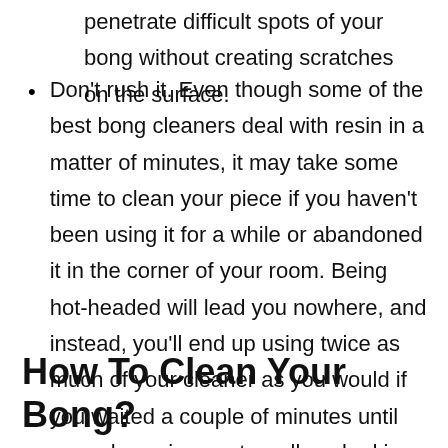penetrate difficult spots of your bong without creating scratches on the surface.
Don't rush it. Even though some of the best bong cleaners deal with resin in a matter of minutes, it may take some time to clean your piece if you haven't been using it for a while or abandoned it in the corner of your room. Being hot-headed will lead you nowhere, and instead, you'll end up using twice as much of your cleaner as you would if you waited a couple of minutes until your glass piece gets well soaked in the solution
How To Clean Your Bong?